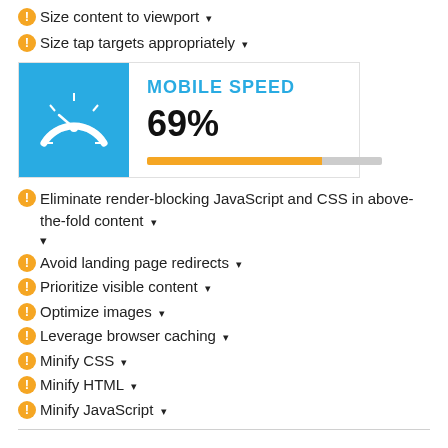Size content to viewport ▾
Size tap targets appropriately ▾
[Figure (infographic): Mobile speed gauge card showing 69% score with blue speedometer icon and an orange/gray progress bar]
Eliminate render-blocking JavaScript and CSS in above-the-fold content ▾
Avoid landing page redirects ▾
Prioritize visible content ▾
Optimize images ▾
Leverage browser caching ▾
Minify CSS ▾
Minify HTML ▾
Minify JavaScript ▾